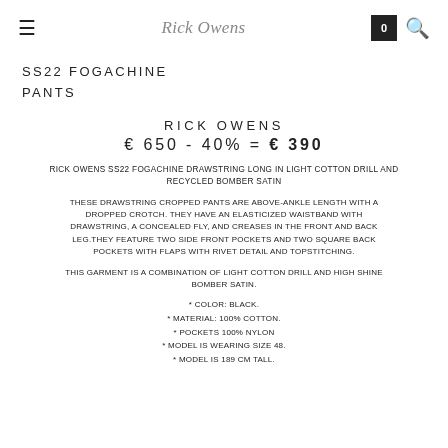≡  Rick Owens  [cart: 0] [search]
SS22 FOGACHINE
PANTS
RICK OWENS
€ 650 - 40% = € 390
RICK OWENS SS22 FOGACHINE DRAWSTRING LONG IN LIGHT COTTON DRILL AND RECYCLED BOMBER SATIN
THESE DRAWSTRING CROPPED PANTS ARE ABOVE-ANKLE LENGTH WITH A DROPPED CROTCH. THEY HAVE AN ELASTICIZED WAISTBAND WITH DRAWSTRING, A CONCEALED FLY, AND CREASES IN THE FRONT AND BACK LEG.THEY FEATURE TWO SIDE FRONT POCKETS AND TWO SQUARE BACK POCKETS WITH FLAPS WITH RIVET DETAIL AND TOPSTITCHING.
THIS GARMENT IS A COMBINATION OF LIGHT COTTON DRILL AND HIGH SHINE BOMBER SATIN.
* COLOR: BLACK.
* MATERIAL: 100% COTTON.
* POCKETS 100% NYLON
* MODEL IS WEARING SIZE 48.
* MODEL IS 189 CM TALL.